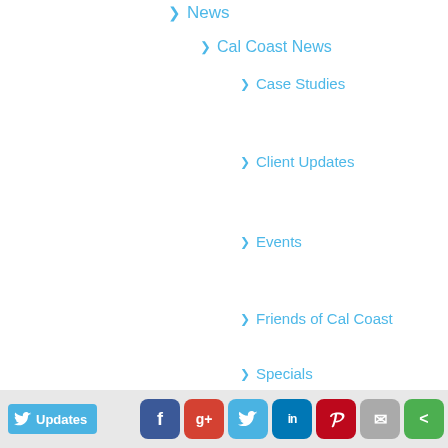News
Cal Coast News
Case Studies
Client Updates
Events
Friends of Cal Coast
Specials
Technology Favorites
In The Community
Industry News
Offline Marketing
Networking
Online Marketing
Analytics & Tracking
Camp...
Updates | Facebook | Google+ | Twitter | LinkedIn | Pinterest | Email | Share